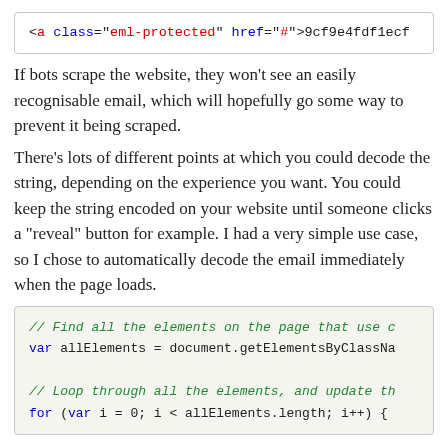[Figure (screenshot): Code snippet showing HTML: <a class="eml-protected" href="#">9cf9e4fdf1ecf]
If bots scrape the website, they won't see an easily recognisable email, which will hopefully go some way to prevent it being scraped.
There's lots of different points at which you could decode the string, depending on the experience you want. You could keep the string encoded on your website until someone clicks a "reveal" button for example. I had a very simple use case, so I chose to automatically decode the email immediately when the page loads.
[Figure (screenshot): Code snippet: // Find all the elements on the page that use c
var allElements = document.getElementsByClassNa

// Loop through all the elements, and update th
for (var i = 0; i < allElements.length; i++) {]